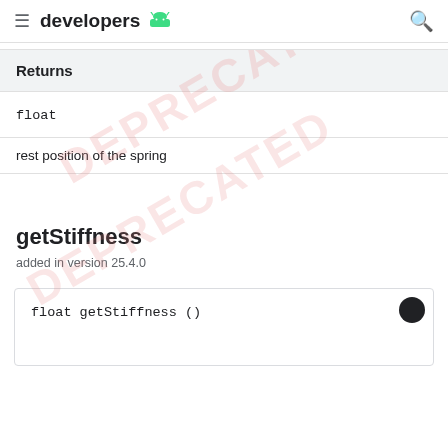developers
| Returns |
| --- |
| float |
rest position of the spring
getStiffness
added in version 25.4.0
float getStiffness ()